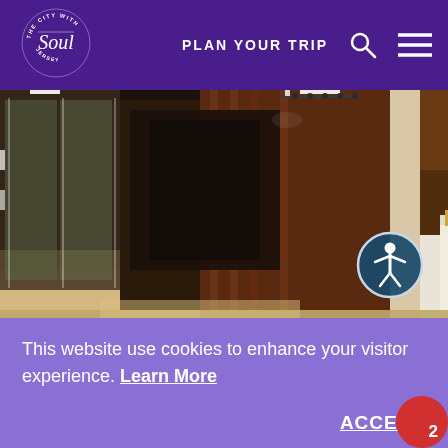[Figure (logo): The City With Soul - Jersey City circular logo in white on purple background]
PLAN YOUR TRIP
[Figure (photo): Interior hallway/lobby of a modern building with glass walls, wood paneling, white floors and a reception/gift shop area visible in the background. Accessibility icon visible on the right side.]
This website use cookies to enhance your visitor experience. Learn More
ACCEPT